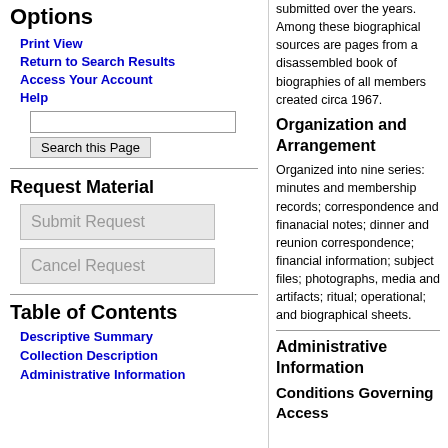Options
Print View
Return to Search Results
Access Your Account
Help
Request Material
Submit Request
Cancel Request
Table of Contents
Descriptive Summary
Collection Description
Administrative Information
submitted over the years. Among these biographical sources are pages from a disassembled book of biographies of all members created circa 1967.
Organization and Arrangement
Organized into nine series: minutes and membership records; correspondence and finanacial notes; dinner and reunion correspondence; financial information; subject files; photographs, media and artifacts; ritual; operational; and biographical sheets.
Administrative Information
Conditions Governing Access